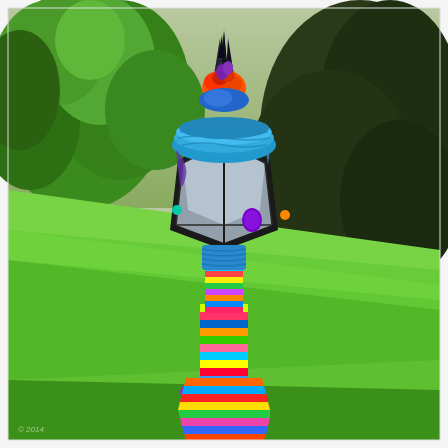[Figure (photo): Outdoor photograph of a decorative street lamp post covered in colorful yarn bombing / knitted textile art. The post is wrapped in bright multicolored striped knitting with pom-poms attached. The lamp head at the top is decorated with blue, purple and teal knitted covers and colorful ornaments including an orange and red jester-style hat topper. The background shows a sloping green grass lawn and dense green and dark-leafed trees/shrubs.]